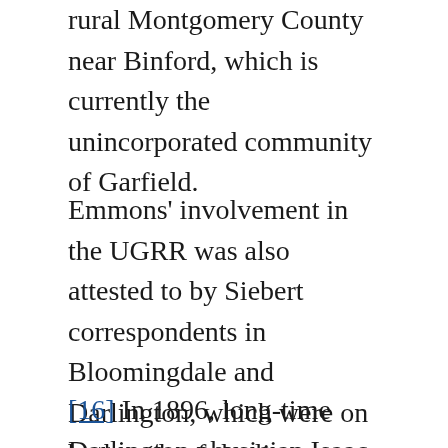rural Montgomery County near Binford, which is currently the unincorporated community of Garfield.
Emmons' involvement in the UGRR was also attested to by Siebert correspondents in Bloomingdale and Darlington, which were on both ends of the line through Montgomery County. Because Emmons' involvement in the UGRR was so widely acknowledged by Siebert's informants in the area, it suggests that he was a central actor in ferrying African Americans through Montgomery County.
[16] In 1896, long-time Darlington physician Isaac E. G. Naylor wrote to Siebert that “Above the Hoover on Methodist I wrote